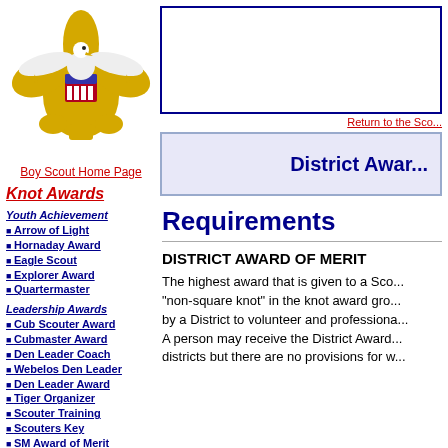[Figure (logo): Boy Scouts of America fleur-de-lis logo with eagle]
Boy Scout Home Page
Knot Awards
Youth Achievement
Arrow of Light
Hornaday Award
Eagle Scout
Explorer Award
Quartermaster
Leadership Awards
Cub Scouter Award
Cubmaster Award
Den Leader Coach
Webelos Den Leader
Den Leader Award
Tiger Organizer
Scouter Training
Scouters Key
SM Award of Merit
Sea Badge
Professional Training
Religious Emblems
Youth
[Figure (other): Top content banner area (white box with dark blue border)]
Return to the Sco...
District Award (of Merit)
Requirements
DISTRICT AWARD OF MERIT
The highest award that is given to a Sco... "non-square knot" in the knot award gro... by a District to volunteer and professiona... A person may receive the District Award... districts but there are no provisions for w...